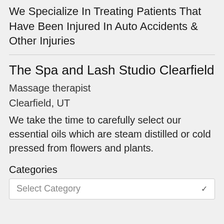We Specialize In Treating Patients That Have Been Injured In Auto Accidents & Other Injuries
The Spa and Lash Studio Clearfield
Massage therapist
Clearfield, UT
We take the time to carefully select our essential oils which are steam distilled or cold pressed from flowers and plants.
Categories
Select Category